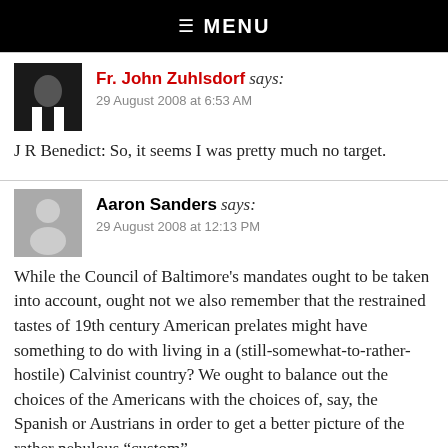☰ MENU
[Figure (photo): Avatar photo of Fr. John Zuhlsdorf wearing clerical collar, dark background]
Fr. John Zuhlsdorf says: 29 August 2008 at 6:53 AM
J R Benedict: So, it seems I was pretty much no target.
[Figure (photo): Generic gray avatar silhouette for Aaron Sanders]
Aaron Sanders says: 29 August 2008 at 12:13 PM
While the Council of Baltimore's mandates ought to be taken into account, ought not we also remember that the restrained tastes of 19th century American prelates might have something to do with living in a (still-somewhat-to-rather-hostile) Calvinist country? We ought to balance out the choices of the Americans with the choices of, say, the Spanish or Austrians in order to get a better picture of the rather nebulous "custom"